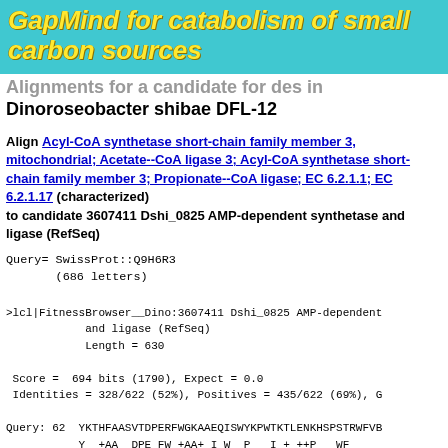GapMind for catabolism of small carbon sources
Alignments for a candidate for des in Dinoroseobacter shibae DFL-12
Align Acyl-CoA synthetase short-chain family member 3, mitochondrial; Acetate--CoA ligase 3; Acyl-CoA synthetase short-chain family member 3; Propionate--CoA ligase; EC 6.2.1.1; EC 6.2.1.17 (characterized) to candidate 3607411 Dshi_0825 AMP-dependent synthetase and ligase (RefSeq)
Query= SwissProt::Q9H6R3
       (686 letters)
>lcl|FitnessBrowser__Dino:3607411 Dshi_0825 AMP-dependent
            and ligase (RefSeq)
            Length = 630

 Score =  694 bits (1790), Expect = 0.0
 Identities = 328/622 (52%), Positives = 435/622 (69%), G

Query: 62  YKTHFAASVTDPERFWGKAAEQISWYKPWTKTLENKHSPSTRWFVB
           Y  +AA  DPE FW +AA+ I W  P   I + ++P   WF